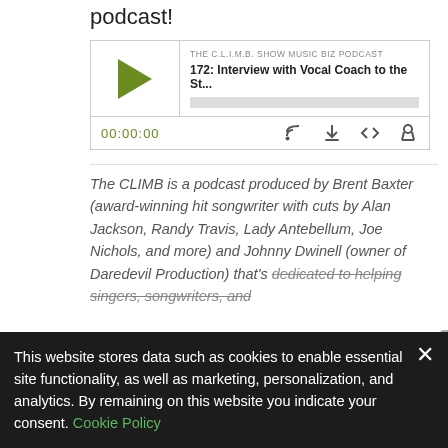podcast!
[Figure (screenshot): Podcast player widget for 'THE C.L.I.M.B. SHOW MUSIC BIZ PODCAST', episode '172: Interview with Vocal Coach to the St...', showing play button, progress bar, timestamp 00:00:00, and control icons]
The CLIMB is a podcast produced by Brent Baxter (award-winning hit songwriter with cuts by Alan Jackson, Randy Travis, Lady Antebellum, Joe Nichols, and more) and Johnny Dwinell (owner of Daredevil Production) that's dedicated to helping singers, songwriters, and
This website stores data such as cookies to enable essential site functionality, as well as marketing, personalization, and analytics. By remaining on this website you indicate your consent. Cookie Policy